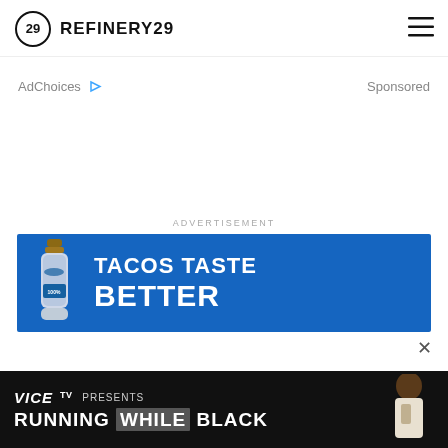REFINERY29
AdChoices  Sponsored
ADVERTISEMENT
[Figure (photo): Blue advertisement banner for tequila product with text TACOS TASTE BETTER]
[Figure (screenshot): VICE TV PRESENTS RUNNING WHILE BLACK advertisement bar at bottom of page]